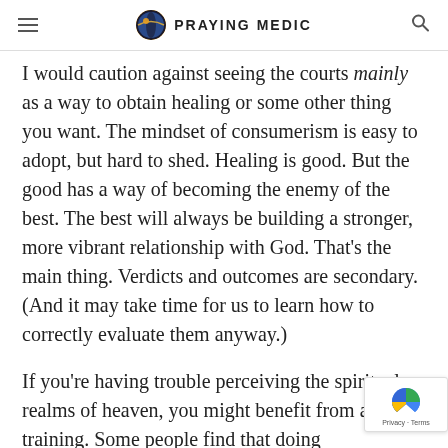PRAYING MEDIC
I would caution against seeing the courts mainly as a way to obtain healing or some other thing you want. The mindset of consumerism is easy to adopt, but hard to shed. Healing is good. But the good has a way of becoming the enemy of the best. The best will always be building a stronger, more vibrant relationship with God. That's the main thing. Verdicts and outcomes are secondary. (And it may take time for us to learn how to correctly evaluate them anyway.)
If you're having trouble perceiving the spiritual realms of heaven, you might benefit from a little training. Some people find that doing